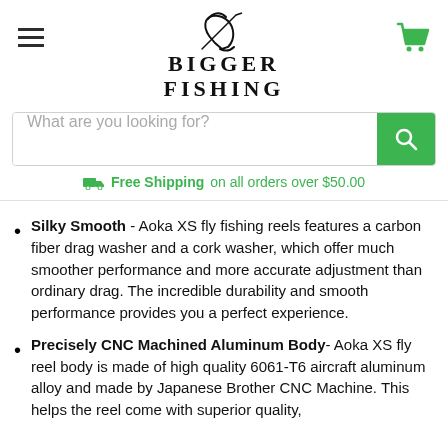[Figure (logo): Bigger Fishing logo with stylized script fish and bold serif BIGGER FISHING text]
What are you looking for?
Free Shipping on all orders over $50.00
Silky Smooth - Aoka XS fly fishing reels features a carbon fiber drag washer and a cork washer, which offer much smoother performance and more accurate adjustment than ordinary drag. The incredible durability and smooth performance provides you a perfect experience.
Precisely CNC Machined Aluminum Body- Aoka XS fly reel body is made of high quality 6061-T6 aircraft aluminum alloy and made by Japanese Brother CNC Machine. This helps the reel come with superior quality,